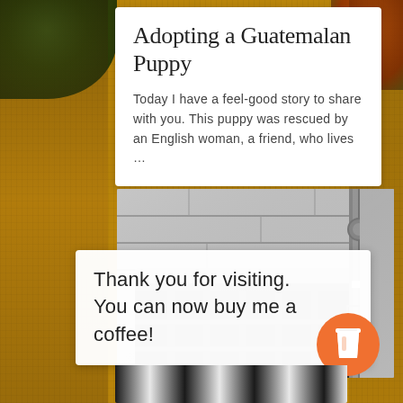Adopting a Guatemalan Puppy
Today I have a feel-good story to share with you. This puppy was rescued by an English woman, a friend, who lives …
[Figure (photo): Black and white photograph of a building exterior showing a barred window, stone wall, and a drainpipe on the right side]
Thank you for visiting. You can now buy me a coffee!
[Figure (photo): Partial view of decorative fabric or textile patterns at the bottom of the page]